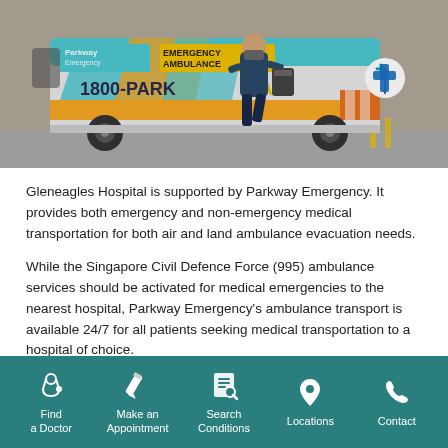[Figure (photo): A Parkway Emergency ambulance van with cyan, white, orange, and blue livery showing '1800-PARKWAY' and 'EMERGENCY AMBULANCE' text. A medical professional in dark scrubs and mask walks alongside carrying equipment.]
Gleneagles Hospital is supported by Parkway Emergency. It provides both emergency and non-emergency medical transportation for both air and land ambulance evacuation needs.
While the Singapore Civil Defence Force (995) ambulance services should be activated for medical emergencies to the nearest hospital, Parkway Emergency's ambulance transport is available 24/7 for all patients seeking medical transportation to a hospital of choice.
Find a Doctor | Make an Appointment | Search Conditions | Locations | Contact